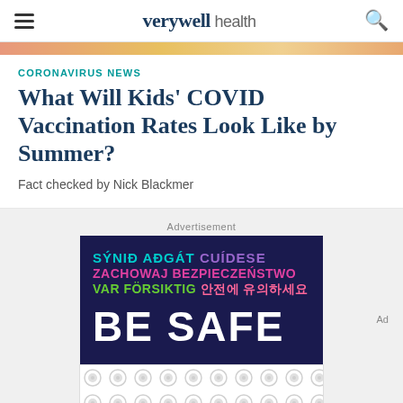verywell health
CORONAVIRUS NEWS
What Will Kids' COVID Vaccination Rates Look Like by Summer?
Fact checked by Nick Blackmer
Advertisement
[Figure (illustration): Advertisement banner with multilingual 'BE SAFE' text in dark navy background. Lines read: 'SÝNIĐ AÐGÁT' (teal) 'CUÍDESE' (purple), 'ZACHOWAJ BEZPIECZEŃSTWO' (pink/magenta), 'VAR FÖRSIKTIG' (green) '안전에 유의하세요' (pink), and large white 'BE SAFE' text at bottom.]
[Figure (other): White advertisement banner with gray decorative dot/circle pattern at bottom of page.]